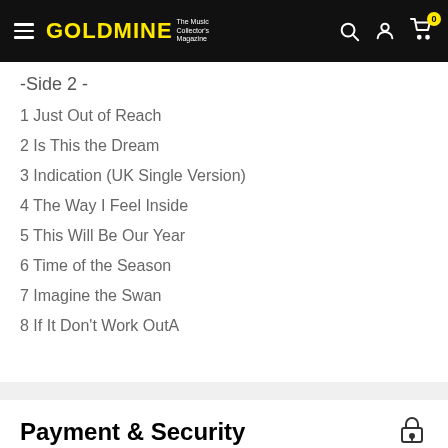GOLDMINE - The Music Collector's Magazine
-Side 2 -
1 Just Out of Reach
2 Is This the Dream
3 Indication (UK Single Version)
4 The Way I Feel Inside
5 This Will Be Our Year
6 Time of the Season
7 Imagine the Swan
8 If It Don't Work OutA
Payment & Security